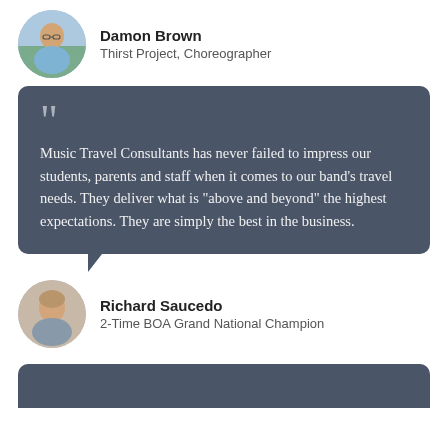Damon Brown
Thirst Project, Choreographer
Music Travel Consultants has never failed to impress our students, parents and staff when it comes to our band's travel needs. They deliver what is "above and beyond" the highest expectations. They are simply the best in the business.
Richard Saucedo
2-Time BOA Grand National Champion